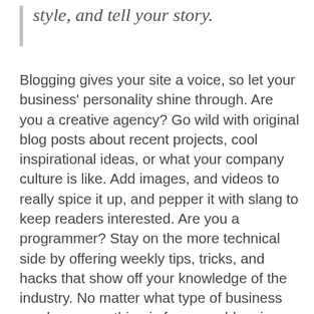style, and tell your story.
Blogging gives your site a voice, so let your business' personality shine through. Are you a creative agency? Go wild with original blog posts about recent projects, cool inspirational ideas, or what your company culture is like. Add images, and videos to really spice it up, and pepper it with slang to keep readers interested. Are you a programmer? Stay on the more technical side by offering weekly tips, tricks, and hacks that show off your knowledge of the industry. No matter what type of business you have, one thing is for sure - blogging gives your business the opportunity to be heard in a way